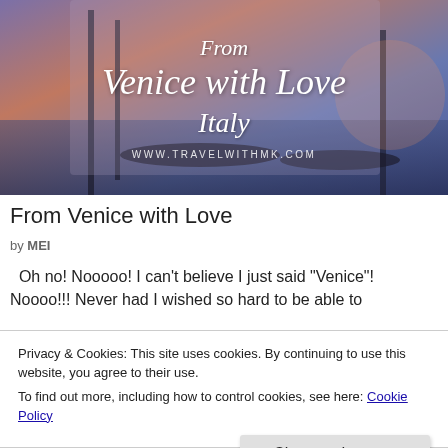[Figure (photo): Travel blog header image for 'From Venice with Love, Italy' with gondolas and Venice waterfront at dusk, overlaid with decorative italic script text and website URL www.travelwithmk.com]
From Venice with Love
by MEI
Oh no! Nooooo! I can't believe I just said "Venice"! Noooo!!! Never had I wished so hard to be able to
Privacy & Cookies: This site uses cookies. By continuing to use this website, you agree to their use.
To find out more, including how to control cookies, see here: Cookie Policy
Close and accept
hotels, monument, museum, sunrise and sunset, travel memories